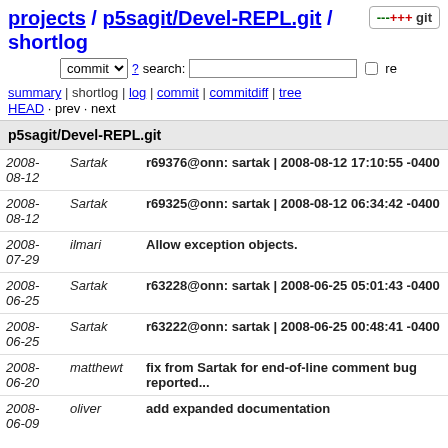projects / p5sagit/Devel-REPL.git / shortlog
commit  ?  search:   re
summary | shortlog | log | commit | commitdiff | tree
HEAD · prev · next
p5sagit/Devel-REPL.git
| Date | Author | Message |
| --- | --- | --- |
| 2008-08-12 | Sartak | r69376@onn: sartak | 2008-08-12 17:10:55 -0400 |
| 2008-08-12 | Sartak | r69325@onn: sartak | 2008-08-12 06:34:42 -0400 |
| 2008-07-29 | ilmari | Allow exception objects. |
| 2008-06-25 | Sartak | r63228@onn: sartak | 2008-06-25 05:01:43 -0400 |
| 2008-06-25 | Sartak | r63222@onn: sartak | 2008-06-25 00:48:41 -0400 |
| 2008-06-20 | matthewt | fix from Sartak for end-of-line comment bug reported... |
| 2008-06-09 | oliver | add expanded documentation |